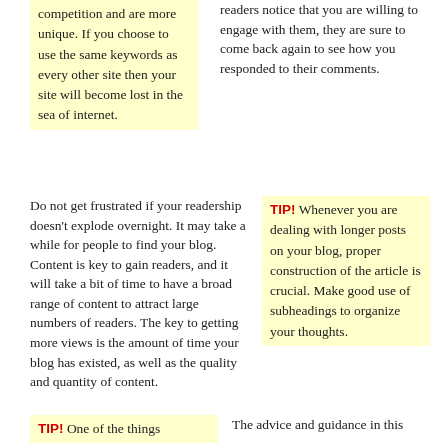competition and are more unique. If you choose to use the same keywords as every other site then your site will become lost in the sea of internet.
readers notice that you are willing to engage with them, they are sure to come back again to see how you responded to their comments.
Do not get frustrated if your readership doesn't explode overnight. It may take a while for people to find your blog. Content is key to gain readers, and it will take a bit of time to have a broad range of content to attract large numbers of readers. The key to getting more views is the amount of time your blog has existed, as well as the quality and quantity of content.
TIP! Whenever you are dealing with longer posts on your blog, proper construction of the article is crucial. Make good use of subheadings to organize your thoughts.
TIP! One of the things
The advice and guidance in this